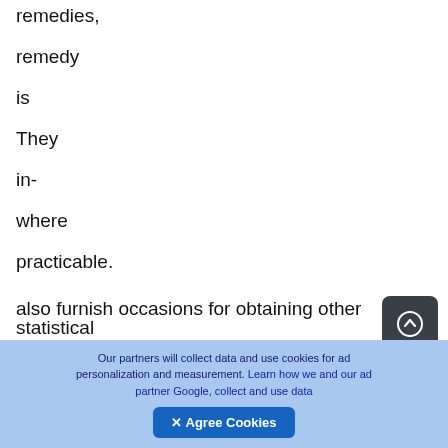remedies,

remedy

is

They

in-

where

practicable.

also furnish occasions for obtaining other statistical
inf
[Figure (other): Dark rounded square button with a white upward arrow circle icon (scroll-to-top button)]
Our partners will collect data and use cookies for ad personalization and measurement. Learn how we and our ad partner Google, collect and use data
✕ Agree Cookies